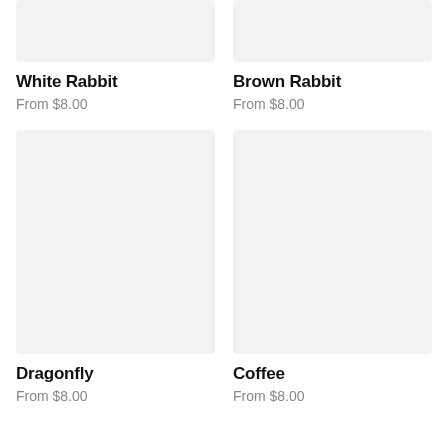[Figure (photo): White Rabbit product image placeholder, light gray rectangle, top of page cropped]
[Figure (photo): Brown Rabbit product image placeholder, light gray rectangle, top of page cropped]
White Rabbit
From $8.00
Brown Rabbit
From $8.00
[Figure (photo): Dragonfly product image placeholder, light gray rectangle, tall]
[Figure (photo): Coffee product image placeholder, light gray rectangle, tall]
Dragonfly
From $8.00
Coffee
From $8.00